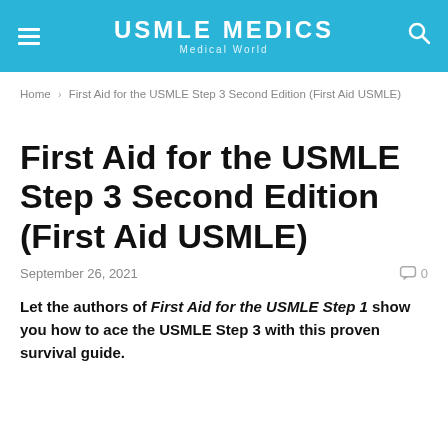USMLE MEDICS | Medical World
Home › First Aid for the USMLE Step 3 Second Edition (First Aid USMLE)
First Aid for the USMLE Step 3 Second Edition (First Aid USMLE)
September 26, 2021   0
Let the authors of First Aid for the USMLE Step 1 show you how to ace the USMLE Step 3 with this proven survival guide.